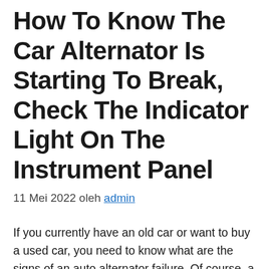How To Know The Car Alternator Is Starting To Break, Check The Indicator Light On The Instrument Panel
11 Mei 2022 oleh admin
If you currently have an old car or want to buy a used car, you need to know what are the signs of an auto alternator failure. Of course, a damaged car alternator will interfere with the operation of the car’s electrical system. To find out, you can check the electrical functions of the car. … Baca